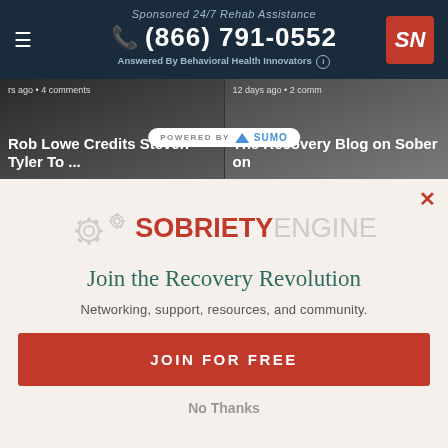Sponsored 24/7 Rehab Assistance | (866) 791-0552 | Answered By Behavioral Health Innovators
[Figure (screenshot): Two article thumbnails: 'Rob Lowe Credits Steven Tyler To ...' and 'The Recovery Blog on Sober on', with Powered by SUMO badge overlay]
[Figure (logo): Sobriety Engine logo with gear icons and text 'SOBRIETY ENGINE']
Join the Recovery Revolution
Networking, support, resources, and community.
JOIN FOR FREE
No Thanks